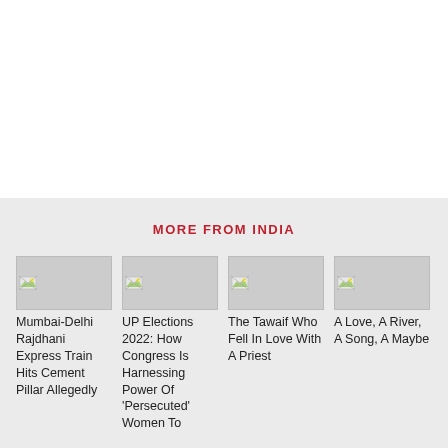MORE FROM INDIA
Mumbai-Delhi Rajdhani Express Train Hits Cement Pillar Allegedly
UP Elections 2022: How Congress Is Harnessing Power Of 'Persecuted' Women To
The Tawaif Who Fell In Love With A Priest
A Love, A River, A Song, A Maybe